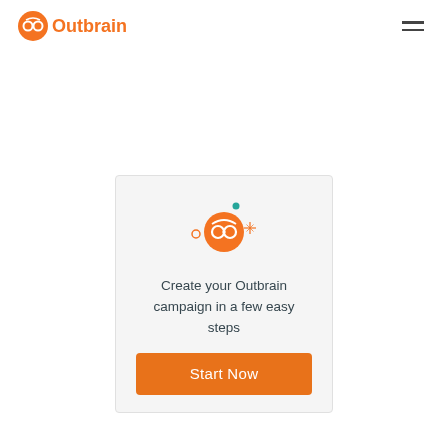[Figure (logo): Outbrain logo with orange circle icon containing glasses and orange text 'Outbrain']
[Figure (illustration): Hamburger menu icon (two horizontal lines) in top right corner]
[Figure (illustration): Outbrain mascot icon (orange circle with glasses face) with small decorative dots and sparkles around it]
Create your Outbrain campaign in a few easy steps
[Figure (other): Orange rounded rectangle button labeled 'Start Now']